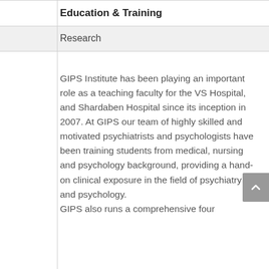Education & Training
Research
GIPS Institute has been playing an important role as a teaching faculty for the VS Hospital, and Shardaben Hospital since its inception in 2007. At GIPS our team of highly skilled and motivated psychiatrists and psychologists have been training students from medical, nursing and psychology background, providing a hand-on clinical exposure in the field of psychiatry and psychology. GIPS also runs a comprehensive four